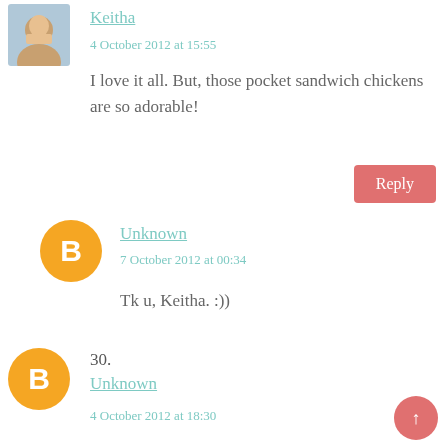[Figure (photo): Small square avatar photo of a woman, appears to be a profile picture]
Keitha
4 October 2012 at 15:55
I love it all. But, those pocket sandwich chickens are so adorable!
Reply
[Figure (logo): Orange circle with white Blogger B logo inside]
Unknown
7 October 2012 at 00:34
Tk u, Keitha. :))
[Figure (logo): Orange circle with white Blogger B logo inside]
30.
Unknown
4 October 2012 at 18:30